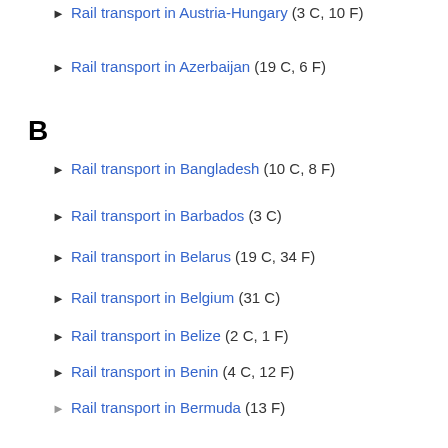► Rail transport in Austria-Hungary (3 C, 10 F)
► Rail transport in Azerbaijan (19 C, 6 F)
B
► Rail transport in Bangladesh (10 C, 8 F)
► Rail transport in Barbados (3 C)
► Rail transport in Belarus (19 C, 34 F)
► Rail transport in Belgium (31 C)
► Rail transport in Belize (2 C, 1 F)
► Rail transport in Benin (4 C, 12 F)
▶ Rail transport in Bermuda (13 F)
► Rail transport in Bolivia (10 C, 19 F)
► Rail transport in Bosnia and Herzegovina (11 C)
► Rail transport in Botswana (3 C, 18 F)